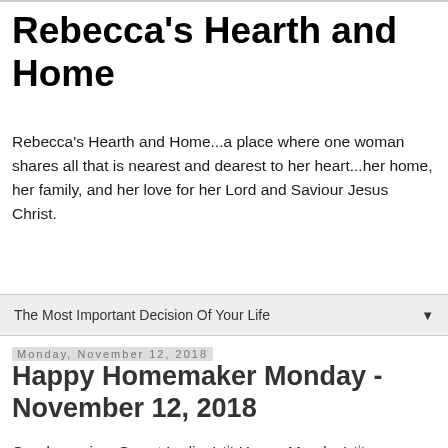Rebecca's Hearth and Home
Rebecca's Hearth and Home...a place where one woman shares all that is nearest and dearest to her heart...her home, her family, and her love for her Lord and Saviour Jesus Christ.
The Most Important Decision Of Your Life
Monday, November 12, 2018
Happy Homemaker Monday - November 12, 2018
Good morning, Sweet Ladies! ☀ Happy Monday! ☀
I pray that this post finds you and yours healthy,